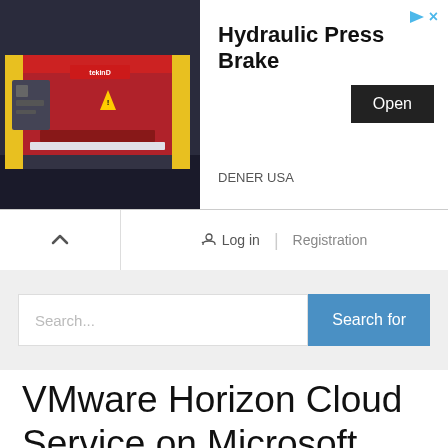[Figure (photo): Advertisement banner showing a hydraulic press brake machine from DENER USA with an Open button]
Hydraulic Press Brake
DENER USA
Log in | Registration
Search...
VMware Horizon Cloud Service on Microsoft Azure Administration Guide